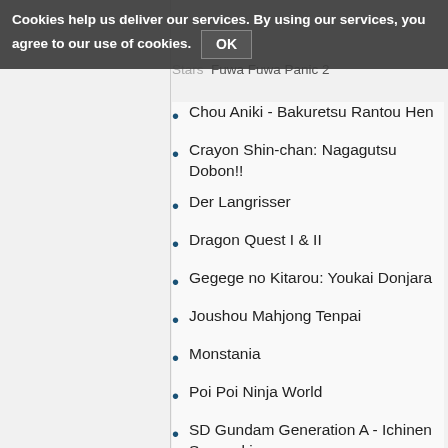Cookies help us deliver our services. By using our services, you agree to our use of cookies. OK
Stars | Fuwa Fuwa Panic 2
Chou Aniki - Bakuretsu Rantou Hen
Crayon Shin-chan: Nagagutsu Dobon!!
Der Langrisser
Dragon Quest I & II
Gegege no Kitarou: Youkai Donjara
Joushou Mahjong Tenpai
Monstania
Poi Poi Ninja World
SD Gundam Generation A - Ichinen Sensouki
SD Gundam Generation B - Gryps Senki
SD Gundam Generation C - Axis Senki
SD Gundam Generation D - Babylonia Kenkoku Senki